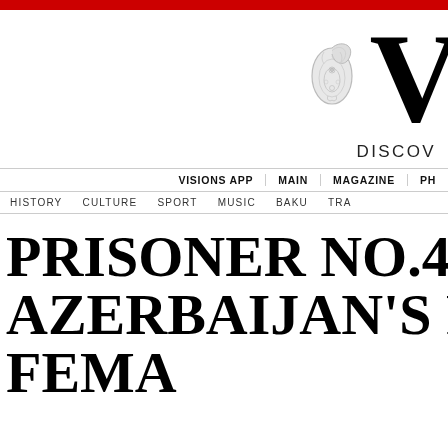VISIONS — DISCOVER
VISIONS APP  MAIN  MAGAZINE  PH
HISTORY  CULTURE  SPORT  MUSIC  BAKU  TRA
PRISONER NO.4390 AZERBAIJAN'S F FEMA